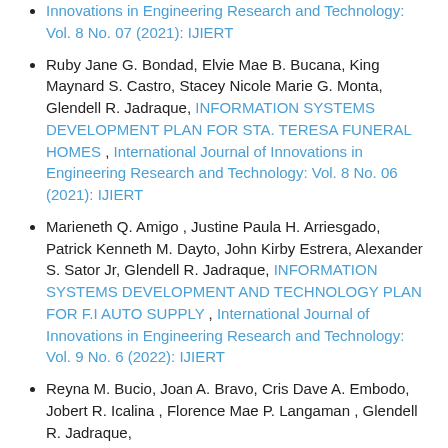Innovations in Engineering Research and Technology: Vol. 8 No. 07 (2021): IJIERT
Ruby Jane G. Bondad, Elvie Mae B. Bucana, King Maynard S. Castro, Stacey Nicole Marie G. Monta, Glendell R. Jadraque, INFORMATION SYSTEMS DEVELOPMENT PLAN FOR STA. TERESA FUNERAL HOMES , International Journal of Innovations in Engineering Research and Technology: Vol. 8 No. 06 (2021): IJIERT
Marieneth Q. Amigo , Justine Paula H. Arriesgado, Patrick Kenneth M. Dayto, John Kirby Estrera, Alexander S. Sator Jr, Glendell R. Jadraque, INFORMATION SYSTEMS DEVELOPMENT AND TECHNOLOGY PLAN FOR F.I AUTO SUPPLY , International Journal of Innovations in Engineering Research and Technology: Vol. 9 No. 6 (2022): IJIERT
Reyna M. Bucio, Joan A. Bravo, Cris Dave A. Embodo, Jobert R. Icalina , Florence Mae P. Langaman , Glendell R. Jadraque,